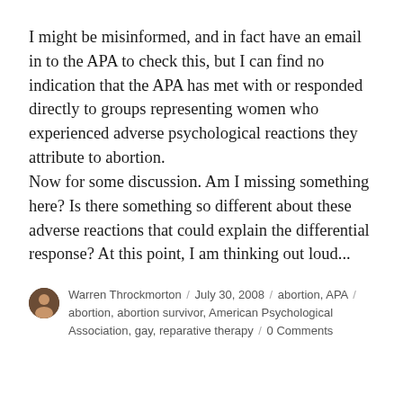I might be misinformed, and in fact have an email in to the APA to check this, but I can find no indication that the APA has met with or responded directly to groups representing women who experienced adverse psychological reactions they attribute to abortion. Now for some discussion. Am I missing something here? Is there something so different about these adverse reactions that could explain the differential response? At this point, I am thinking out loud...
Warren Throckmorton / July 30, 2008 / abortion, APA / abortion, abortion survivor, American Psychological Association, gay, reparative therapy / 0 Comments